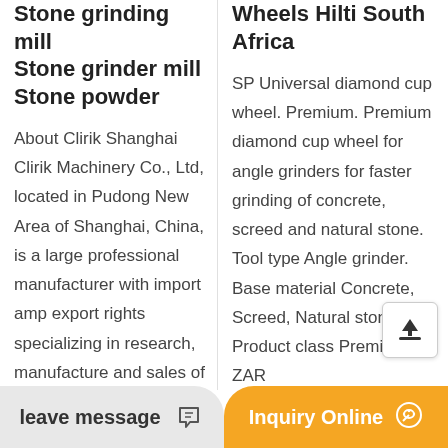Stone grinding mill Stone grinder mill Stone powder
About Clirik Shanghai Clirik Machinery Co., Ltd, located in Pudong New Area of Shanghai, China, is a large professional manufacturer with import amp export rights specializing in research, manufacture and sales of crushing machinery, mining
Wheels Hilti South Africa
SP Universal diamond cup wheel. Premium. Premium diamond cup wheel for angle grinders for faster grinding of concrete, screed and natural stone. Tool type Angle grinder. Base material Concrete, Screed, Natural stone. Product class Premium. ZAR
leave message
Inquiry Online